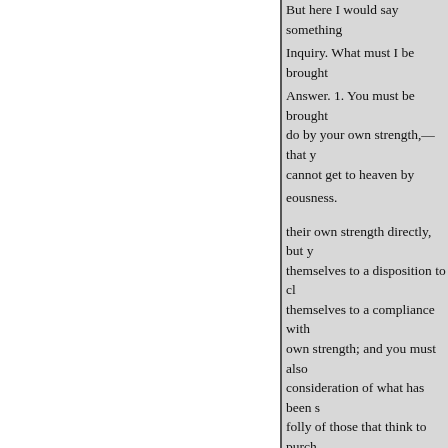But here I would say something
Inquiry. What must I be brought
Answer. 1. You must be brought do by your own strength,—that y cannot get to heaven by
eousness.
their own strength directly, but y themselves to a disposition to cl themselves to a compliance with own strength; and you must also consideration of what has been s folly of those that think to purch
What a vain thought have men purchase such glory of him! How goodness, if he should bestow th performances as the price of them
2. Your heart must be brought your heart must entirely close wi must be drawn to him, and it mu mercy and saving grace, and you